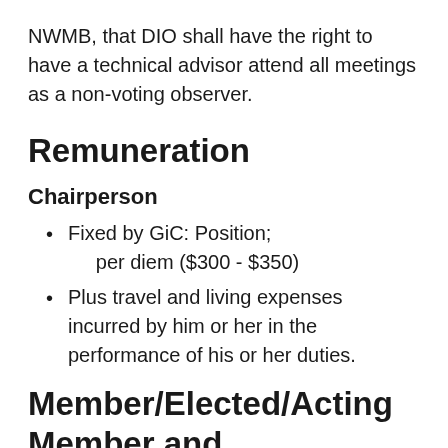NWMB, that DIO shall have the right to have a technical advisor attend all meetings as a non-voting observer.
Remuneration
Chairperson
Fixed by GiC: Position; per diem ($300 - $350)
Plus travel and living expenses incurred by him or her in the performance of his or her duties.
Member/Elected/Acting Member and